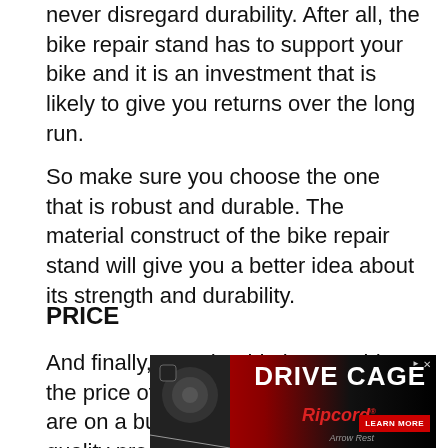never disregard durability. After all, the bike repair stand has to support your bike and it is an investment that is likely to give you returns over the long run.
So make sure you choose the one that is robust and durable. The material construct of the bike repair stand will give you a better idea about its strength and durability.
PRICE
And finally, you should also consider the price of the product. Even if you are on a budget, investing in a low quality product is often not a wise decision. Therefore, we
[Figure (other): Advertisement banner for Ripcord Arrow Rest 'Drive Cage' product with red/black background, product image on left, bold white 'DRIVE CAGE' text, Ripcord logo, and 'LEARN MORE' button.]